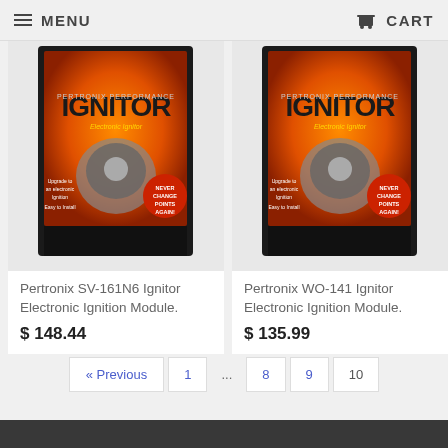MENU | CART
[Figure (photo): Pertronix Ignitor Electronic Ignition Module product box - SV-161N6]
Pertronix SV-161N6 Ignitor Electronic Ignition Module.
$ 148.44
[Figure (photo): Pertronix Ignitor Electronic Ignition Module product box - WO-141]
Pertronix WO-141 Ignitor Electronic Ignition Module.
$ 135.99
« Previous
1
...
8
9
10